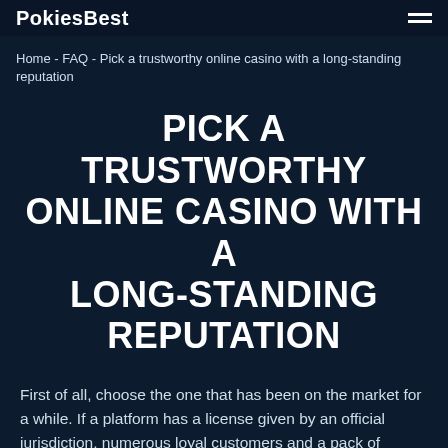PokiesBest
Home - FAQ - Pick a trustworthy online casino with a long-standing reputation
PICK A TRUSTWORTHY ONLINE CASINO WITH A LONG-STANDING REPUTATION
First of all, choose the one that has been on the market for a while. If a platform has a license given by an official jurisdiction, numerous loyal customers and a pack of positive unbiased reviews, then you should feel safe playing pokies in such a casino.